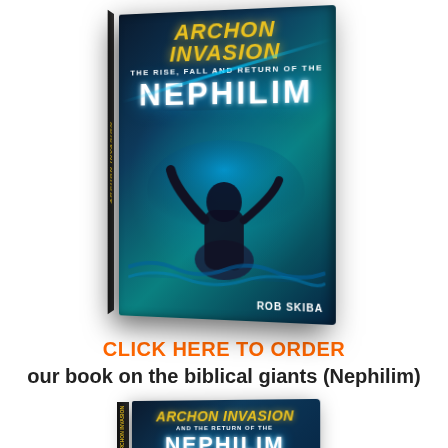[Figure (illustration): 3D rendered book cover of 'Archon Invasion: The Rise, Fall and Return of the Nephilim' by Rob Skiba, showing a giant figure rising from water with glowing beams and UFOs in background]
CLICK HERE TO ORDER
our book on the biblical giants (Nephilim)
[Figure (illustration): Partial view of a DVD or book titled 'Archon Invasion and the Return of the Nephilim']